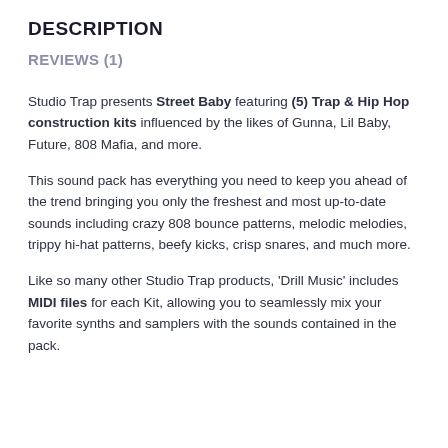DESCRIPTION
REVIEWS (1)
Studio Trap presents Street Baby featuring (5) Trap & Hip Hop construction kits influenced by the likes of Gunna, Lil Baby, Future, 808 Mafia, and more.
This sound pack has everything you need to keep you ahead of the trend bringing you only the freshest and most up-to-date sounds including crazy 808 bounce patterns, melodic melodies, trippy hi-hat patterns, beefy kicks, crisp snares, and much more.
Like so many other Studio Trap products, 'Drill Music' includes MIDI files for each Kit, allowing you to seamlessly mix your favorite synths and samplers with the sounds contained in the pack.